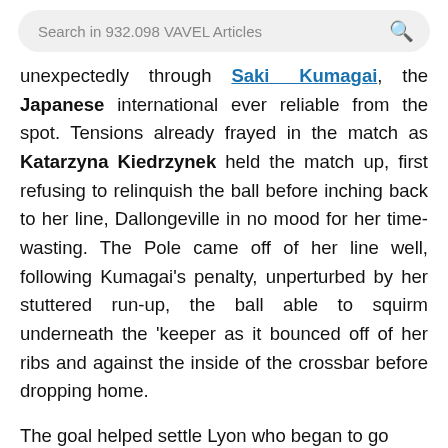Search in 932.098 VAVEL Articles
unexpectedly through Saki Kumagai, the Japanese international ever reliable from the spot. Tensions already frayed in the match as Katarzyna Kiedrzynek held the match up, first refusing to relinquish the ball before inching back to her line, Dallongeville in no mood for her time-wasting. The Pole came off of her line well, following Kumagai's penalty, unperturbed by her stuttered run-up, the ball able to squirm underneath the 'keeper as it bounced off of her ribs and against the inside of the crossbar before dropping home.
The goal helped settle Lyon who began to go